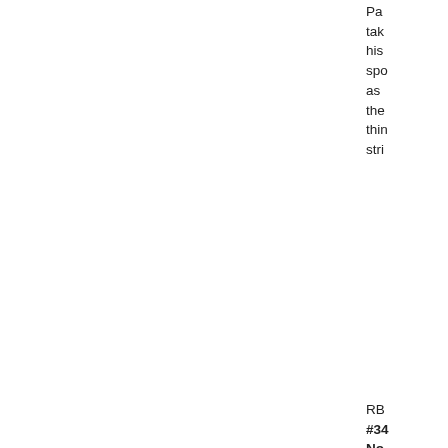Pa
tak
his
spo
as
the
thin
stri
RB
#34
No
Sh
/
#20
Gre
Sill
Asi
fro
Lin
St.
Ka
gro
atti